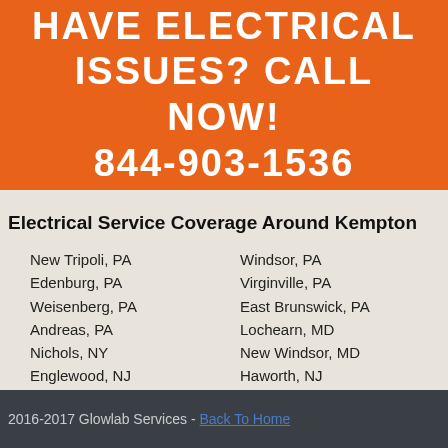HAVE ELECTRICAL ISSUES? CALL NOW! 844-903-1536
Electrical Service Coverage Around Kempton
New Tripoli, PA
Edenburg, PA
Weisenberg, PA
Andreas, PA
Nichols, NY
Englewood, NJ
Wesley Hills, NY
Windsor, PA
Virginville, PA
East Brunswick, PA
Lochearn, MD
New Windsor, MD
Haworth, NJ
Hamiltonban, PA
2016-2017 Glowlab Services - Back To Home